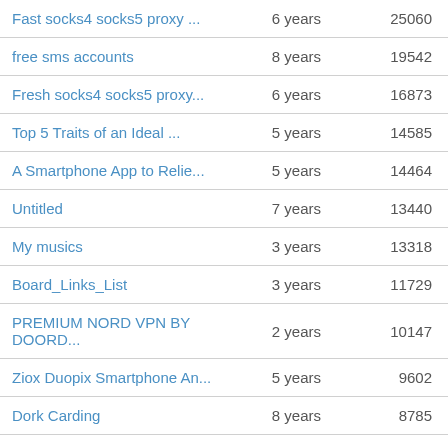| Title | Age | Views |
| --- | --- | --- |
| Fast socks4 socks5 proxy ... | 6 years | 25060 |
| free sms accounts | 8 years | 19542 |
| Fresh socks4 socks5 proxy... | 6 years | 16873 |
| Top 5 Traits of an Ideal ... | 5 years | 14585 |
| A Smartphone App to Relie... | 5 years | 14464 |
| Untitled | 7 years | 13440 |
| My musics | 3 years | 13318 |
| Board_Links_List | 3 years | 11729 |
| PREMIUM NORD VPN BY DOORD... | 2 years | 10147 |
| Ziox Duopix Smartphone An... | 5 years | 9602 |
| Dork Carding | 8 years | 8785 |
| Untitled | 7 years | 7472 |
| Free Credit Cards & N... | 2 years | 6614 |
| Ashley Madison 1st Dump I... | 7 years | 6200 |